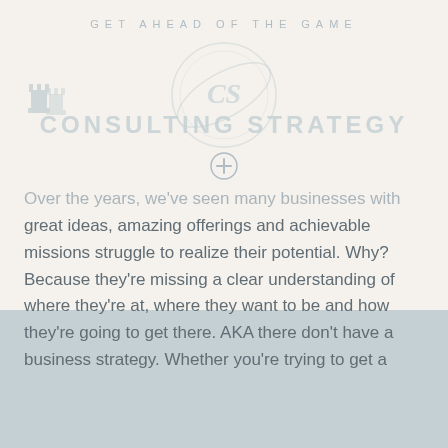GET AHEAD OF THE GAME
[Figure (logo): Consulting Strategy logo with circular emblem containing 'CS' initials and chess piece icon on the left, text reading 'CONSULTING STRATEGY' in light blue-gray]
[Figure (other): Small circular plus/add icon in light gray]
Over the years, we've seen many businesses with great ideas, amazing offerings and achievable missions struggle to realize their potential. Why? Because they're missing a clear understanding of where they're at, where they want to be and how they're going to get there. AKA there don't have a business strategy. Whether you're trying to get a